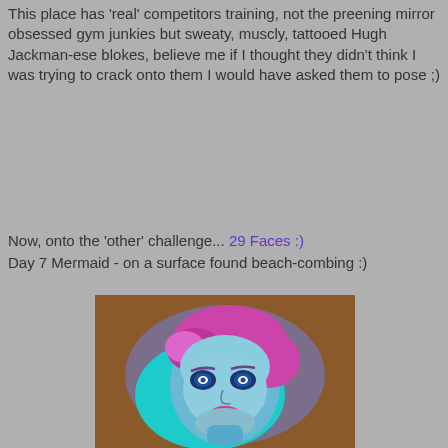This place has 'real' competitors training, not the preening mirror obsessed gym junkies but sweaty, muscly, tattooed Hugh Jackman-ese blokes, believe me if I thought they didn't think I was trying to crack onto them I would have asked them to pose ;)
Now, onto the 'other' challenge... 29 Faces :)
Day 7 Mermaid - on a surface found beach-combing :)
[Figure (illustration): A painting of a mermaid face with pink/magenta hair and blue skin, painted on a natural found surface (piece of wood or bark found beach-combing). The face has wide blue eyes, blue-toned skin, pink lips, and expressive features.]